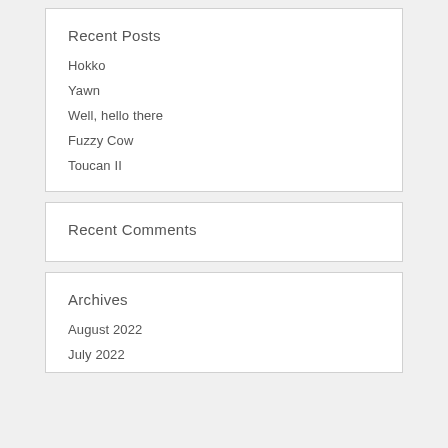Recent Posts
Hokko
Yawn
Well, hello there
Fuzzy Cow
Toucan II
Recent Comments
Archives
August 2022
July 2022